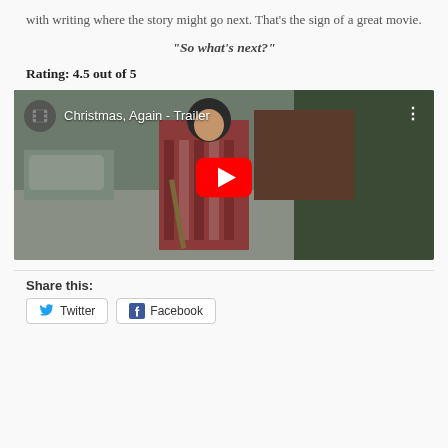with writing where the story might go next. That's the sign of a great movie.
“So what’s next?”
Rating: 4.5 out of 5
[Figure (screenshot): YouTube video thumbnail for 'Christmas, Again - Trailer' showing a man in a red plaid shirt holding a stick at a Christmas tree lot, with a YouTube play button overlay.]
Share this:
Twitter
Facebook